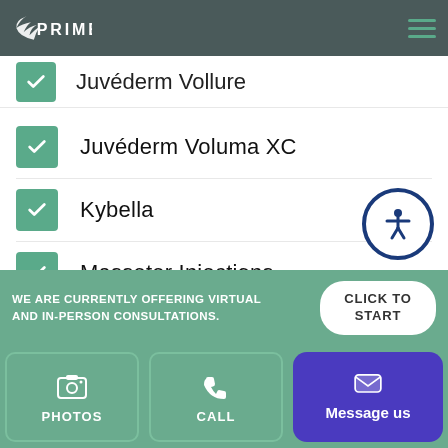[Figure (logo): PRIME med spa logo with wing/leaf icon in white on dark background, hamburger menu icon on right]
Juvéderm Vollure
Juvéderm Voluma XC
Kybella
Masseter Injections
Restylane Silk
Revanesse Versa
WE ARE CURRENTLY OFFERING VIRTUAL AND IN-PERSON CONSULTATIONS.
CLICK TO START
PHOTOS
CALL
Message us